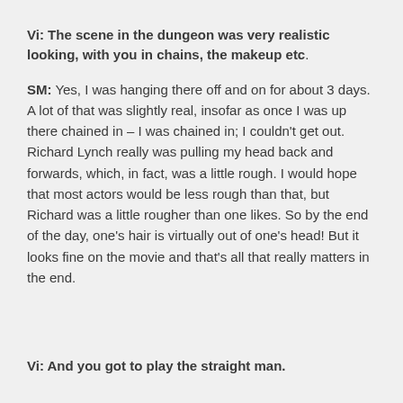Vi: The scene in the dungeon was very realistic looking, with you in chains, the makeup etc.
SM: Yes, I was hanging there off and on for about 3 days. A lot of that was slightly real, insofar as once I was up there chained in – I was chained in; I couldn't get out. Richard Lynch really was pulling my head back and forwards, which, in fact, was a little rough.  I would hope that most actors would be less rough than that, but Richard was a little rougher than one likes.  So by the end of the day, one's hair is virtually out of one's head!  But it looks fine on the movie and that's all that really matters in the end.
Vi: And you got to play the straight man.